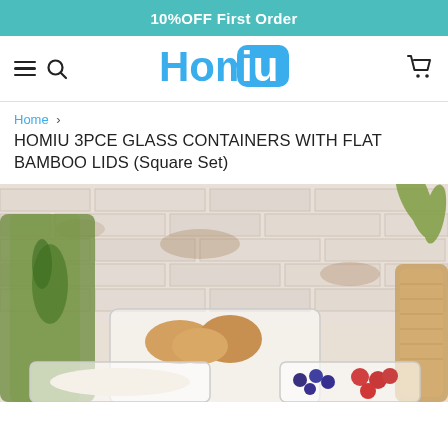10%OFF First Order
[Figure (logo): Homiu logo with teal background on 'iu' portion]
Home > HOMIU 3PCE GLASS CONTAINERS WITH FLAT BAMBOO LIDS (Square Set)
[Figure (photo): Product photo showing Homiu glass containers with flat bamboo lids square set, displayed on a table with rustic white brick background, food items visible inside containers including rice, berries and bread rolls, alongside a green glass bottle and wicker basket]